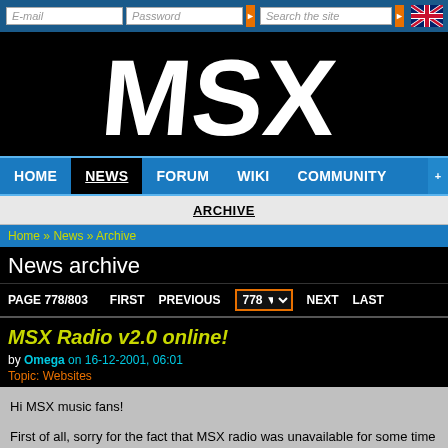E-mail | Password | Search the site
[Figure (logo): MSX logo in white bold letters on black background]
HOME | NEWS | FORUM | WIKI | COMMUNITY
ARCHIVE
Home » News » Archive
News archive
PAGE 778/803   FIRST   PREVIOUS   778 ▼   NEXT   LAST
MSX Radio v2.0 online!
by Omega on 16-12-2001, 06:01
Topic: Websites
Hi MSX music fans!

First of all, sorry for the fact that MSX radio was unavailable for some time two weeks ago. Live365 had problems with their bandwidth provider. Now